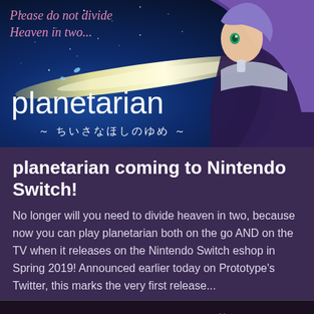[Figure (illustration): Anime-style promotional banner for 'planetarian ~ ちいさなほしのゆめ ~' featuring a purple-haired anime girl in futuristic armor, a starry blue sky background with a glowing yellow ribbon/stream, and italic pink text reading 'Please do not divide Heaven in two...' at the top left, with the game title 'planetarian' and Japanese subtitle at the bottom left.]
planetarian coming to Nintendo Switch!
No longer will you need to divide heaven in two, because now you can play planetarian both on the go AND on the TV when it releases on the Nintendo Switch eshop in Spring 2019! Announced earlier today on Prototype's Twitter, this marks the very first release...
Read more   Sept. 21, 2018